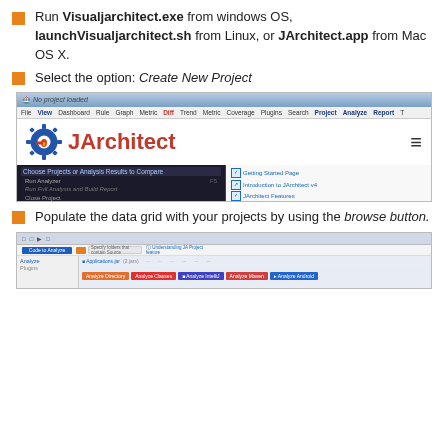Run Visualjarchitect.exe from windows OS, launchVisualjarchitect.sh from Linux, or JArchitect.app from Mac OS X.
Select the option: Create New Project
[Figure (screenshot): Screenshot of JArchitect application showing menu with options: Choose Projects or Analysis Results to Compare, Run Analyzer, Run Full Analysis and Build Report, Close Project, Exit, Open JArchitect Project..., Analyze project files in folder, Analyze a set of project files, Compare 2 versions of a code base. Right side shows links and Most Recent JArchitect Version with Release Notes and Download buttons.]
Populate the data grid with your projects by using the browse button.
[Figure (screenshot): Screenshot of JArchitect application data grid showing code to analyze with columns for analysis options including Analyze Directory, Analyze Classes, Analyze IntelliJ, Analyze Maven, Analyze Android.]